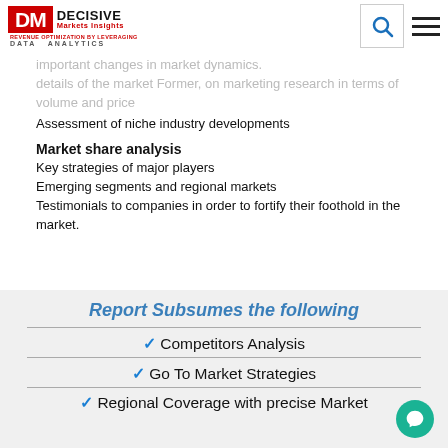Decisive Markets Insights logo header
important changes in market dynamics
details of the market Former, on marketing research in terms of volume and price
Assessment of niche industry developments
Market share analysis
Key strategies of major players
Emerging segments and regional markets
Testimonials to companies in order to fortify their foothold in the market.
Report Subsumes the following
Competitors Analysis
Go To Market Strategies
Regional Coverage with precise Market